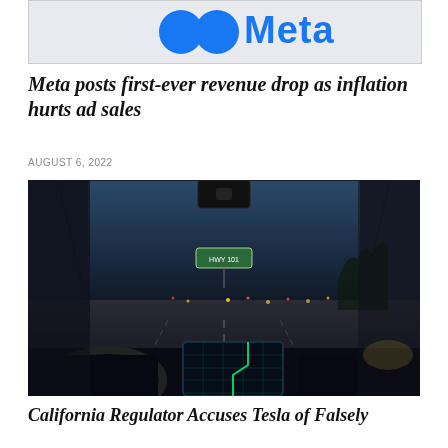[Figure (photo): Partial view of Meta logo on a white background, showing stylized blue circles and 'Meta' text]
Meta posts first-ever revenue drop as inflation hurts ad sales
AUGUST 6, 2022
[Figure (photo): Interior view of a Tesla vehicle at night on a highway, showing the dashboard touchscreen with navigation map and the windshield view of a multi-lane road with city lights]
California Regulator Accuses Tesla of Falsely